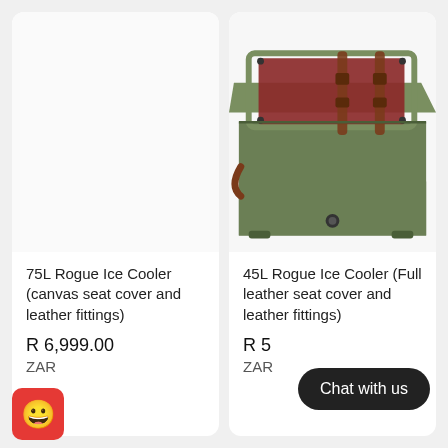[Figure (photo): Left product card with no image shown (empty/white area)]
75L Rogue Ice Cooler (canvas seat cover and leather fittings)
R 6,999.00
ZAR
[Figure (photo): 45L Rogue Ice Cooler - olive green hard cooler box with dark red/maroon leather seat cover on top and brown leather buckle straps and handles, photographed from above-front angle]
45L Rogue Ice Cooler (Full leather seat cover and leather fittings)
R 5
ZAR
Chat with us